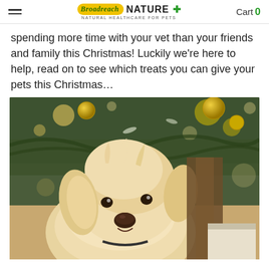Broadreach NATURE+ | Cart 0
spending more time with your vet than your friends and family this Christmas! Luckily we're here to help, read on to see which treats you can give your pets this Christmas…
[Figure (photo): A fluffy light-golden dog sitting under a Christmas tree decorated with gold baubles and lights, with a gift box visible to the right. The dog is looking toward the camera with a relaxed expression.]